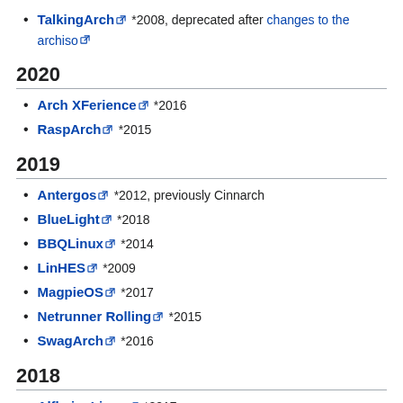TalkingArch *2008, deprecated after changes to the archiso
2020
Arch XFerience *2016
RaspArch *2015
2019
Antergos *2012, previously Cinnarch
BlueLight *2018
BBQLinux *2014
LinHES *2009
MagpieOS *2017
Netrunner Rolling *2015
SwagArch *2016
2018
Alfheim Linux *2017
Archphile *2014
MorpheusArch *2015